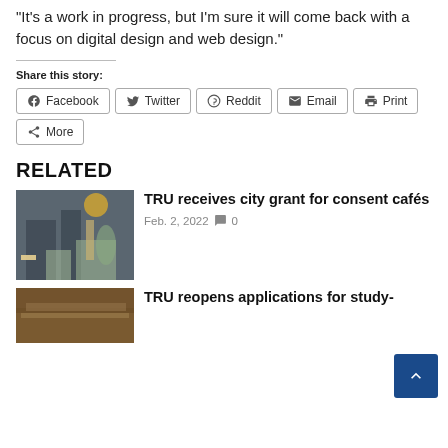“It’s a work in progress, but I’m sure it will come back with a focus on digital design and web design.”
Share this story:
Facebook | Twitter | Reddit | Email | Print | More
RELATED
[Figure (photo): Photo of a table with candles, small signs, and green plants at an event]
TRU receives city grant for consent cafés
Feb. 2, 2022  0
[Figure (photo): Partial photo visible at bottom, wooden surface]
TRU reopens applications for study-